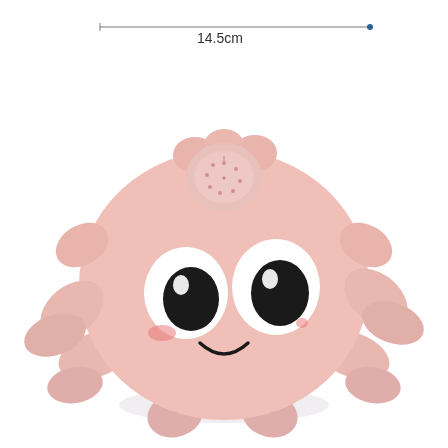[Figure (other): Product photo of a pink octopus-shaped children's toy/bath toy with large cartoon eyes, a smiling face, and six legs. The toy has a round pink body with a water sprinkler disc on top. A measurement line at the top of the image spans the width of the toy body with the label '14.5cm'.]